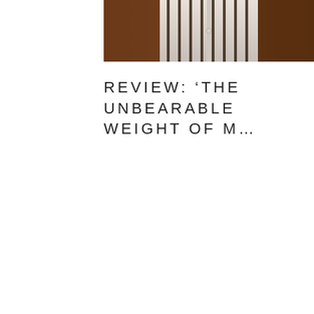[Figure (photo): A close-up photo of a person wearing a striped button-up shirt (white with dark vertical stripes) and what appears to be a brown jacket or outer layer. The image is cropped to show mainly the torso/chest area.]
REVIEW: 'THE UNBEARABLE WEIGHT OF M...